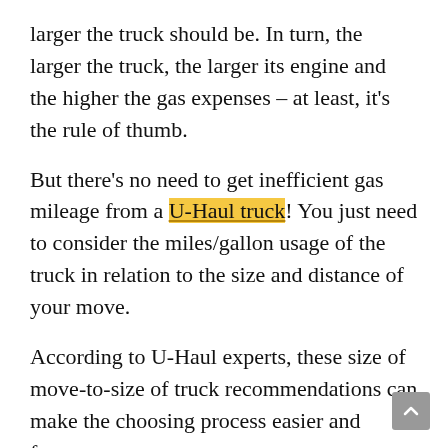larger the truck should be. In turn, the larger the truck, the larger its engine and the higher the gas expenses – at least, it's the rule of thumb.
But there's no need to get inefficient gas mileage from a U-Haul truck! You just need to consider the miles/gallon usage of the truck in relation to the size and distance of your move.
According to U-Haul experts, these size of move-to-size of truck recommendations can make the choosing process easier and faster.
For a one-bedroom and studio moves, which are considered as relatively small, the 8-foot pickup truck, the 9-foot cargo van, and the 10-foot moving trucks are ideal.
For medium to large relocations, such as for a